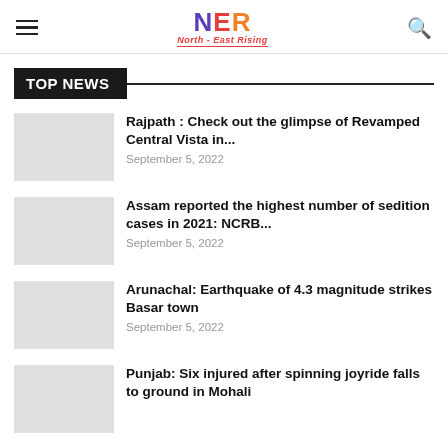NER North-East Rising
TOP NEWS
Rajpath : Check out the glimpse of Revamped Central Vista in...
September 5, 2022
Assam reported the highest number of sedition cases in 2021: NCRB...
September 5, 2022
Arunachal: Earthquake of 4.3 magnitude strikes Basar town
September 5, 2022
Punjab: Six injured after spinning joyride falls to ground in Mohali